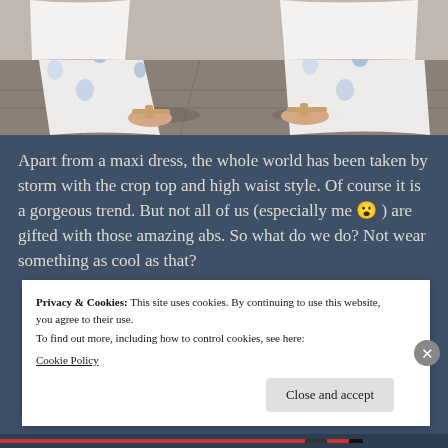[Figure (photo): Lower half of a person wearing a white and blue floral maxi dress and sandals, standing on a marble/stone floor.]
Apart from a maxi dress, the whole world has been taken by storm with the crop top and high waist style. Of course it is a gorgeous trend. But not all of us (especially me 😮 ) are gifted with those amazing abs. So what do we do? Not wear something as cool as that?
Privacy & Cookies: This site uses cookies. By continuing to use this website, you agree to their use.
To find out more, including how to control cookies, see here:
Cookie Policy
Close and accept